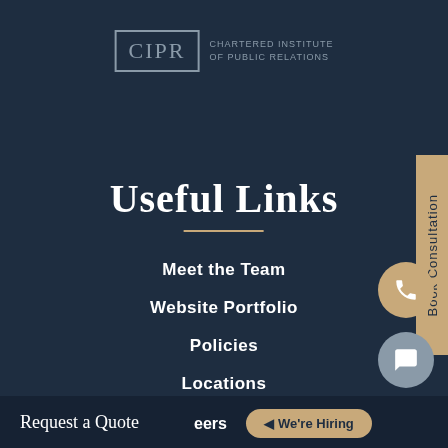[Figure (logo): CIPR Chartered Institute of Public Relations logo with box border]
Useful Links
Meet the Team
Website Portfolio
Policies
Locations
Book Consultation
Request a Quote
eers
We're Hiring